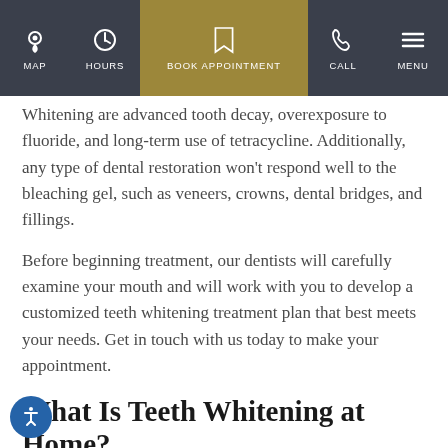[Figure (screenshot): Website navigation bar with MAP, HOURS, BOOK APPOINTMENT (highlighted in gold), CALL, and MENU buttons with icons]
Whitening are advanced tooth decay, overexposure to fluoride, and long-term use of tetracycline. Additionally, any type of dental restoration won't respond well to the bleaching gel, such as veneers, crowns, dental bridges, and fillings.
Before beginning treatment, our dentists will carefully examine your mouth and will work with you to develop a customized teeth whitening treatment plan that best meets your needs. Get in touch with us today to make your appointment.
What Is Teeth Whitening at Home?
Our take-home teeth whitening kits are an easy and convenient way to obtain professional results in the comfort of your own home. If you choose this option, you'll